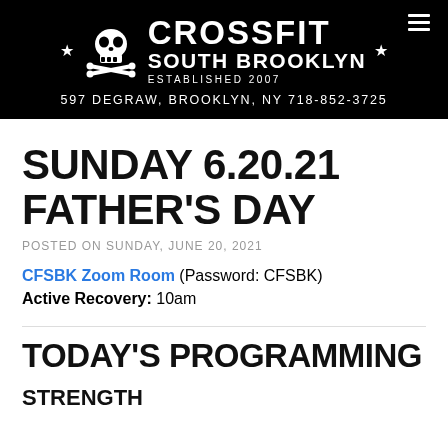CROSSFIT SOUTH BROOKLYN ESTABLISHED 2007 597 DEGRAW, BROOKLYN, NY 718-852-3725
SUNDAY 6.20.21 FATHER'S DAY
POSTED ON SUNDAY, JUNE 20, 2021
CFSBK Zoom Room (Password: CFSBK)
Active Recovery: 10am
TODAY'S PROGRAMMING
STRENGTH